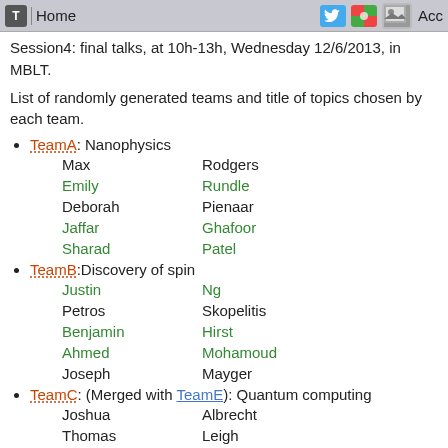T  Home  [twitter icon] [maps icon] [image icon]  Acc
Session4: final talks, at 10h-13h, Wednesday 12/6/2013, in MBLT.
List of randomly generated teams and title of topics chosen by each team.
TeamA: Nanophysics
Max Rodgers
Emily Rundle
Deborah Pienaar
Jaffar Ghafoor
Sharad Patel
TeamB:Discovery of spin
Justin Ng
Petros Skopelitis
Benjamin Hirst
Ahmed Mohamoud
Joseph Mayger
TeamC: (Merged with TeamE): Quantum computing
Joshua Albrecht
Thomas Leigh
Jaime van Oers